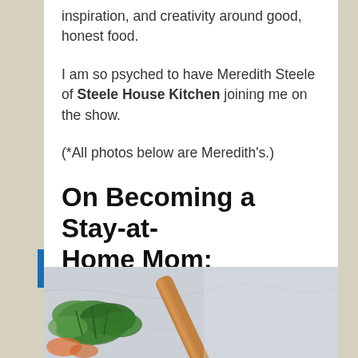inspiration, and creativity around good, honest food.
I am so psyched to have Meredith Steele of Steele House Kitchen joining me on the show.
(*All photos below are Meredith's.)
On Becoming a Stay-at-Home Mom:
[Figure (photo): Close-up photo of a wooden spoon with green herbs and vegetables on a light background]